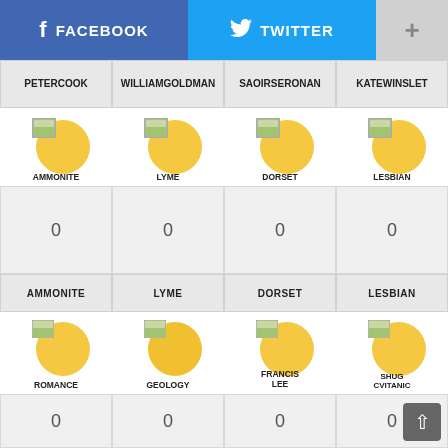[Figure (screenshot): Social sharing buttons: Facebook (blue), Twitter (light blue), and a plus/more button (gray)]
PETER COOK | WILLIAM GOLDMAN | SAOIRSE RONAN | KATE WINSLET
[Figure (infographic): Four image thumbnails with yellow circles: AMMONITE, LYME, DORSET, LESBIAN]
0 | 0 | 0 | 0
AMMONITE | LYME | DORSET | LESBIAN
[Figure (infographic): Four image thumbnails with yellow circles: ROMANCE, GEOLOGY, FRANCIS LEE, SHUG CVITANIC]
0 | 0 | 0 | 0